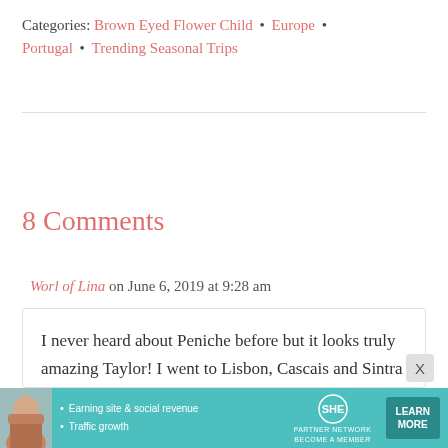Categories: Brown Eyed Flower Child • Europe • Portugal • Trending Seasonal Trips
8 Comments
Worl of Lina on June 6, 2019 at 9:28 am
I never heard about Peniche before but it looks truly amazing Taylor! I went to Lisbon, Cascais and Sintra in 2017 and loved it there but I
[Figure (infographic): SHE Partner Network advertisement banner with photo of a woman, bullet points about Earning site & social revenue and Traffic growth, SHE media logo, and LEARN MORE button]